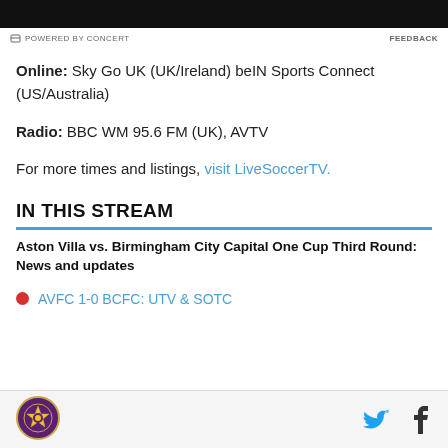[Figure (other): Dark banner image at top of page]
POWERED BY CONCERT
FEEDBACK
Online: Sky Go UK (UK/Ireland) beIN Sports Connect (US/Australia)
Radio: BBC WM 95.6 FM (UK), AVTV
For more times and listings, visit LiveSoccerTV.
IN THIS STREAM
Aston Villa vs. Birmingham City Capital One Cup Third Round: News and updates
AVFC 1-0 BCFC: UTV & SOTC
[Figure (logo): Aston Villa team logo circle]
[Figure (other): Twitter and Facebook social icons]